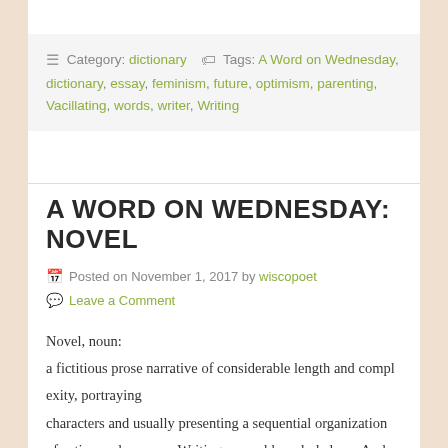≡ Category: dictionary  🏷 Tags: A Word on Wednesday, dictionary, essay, feminism, future, optimism, parenting, Vacillating, words, writer, Writing
A WORD ON WEDNESDAY: NOVEL
Posted on November 1, 2017 by wiscopoet
Leave a Comment
Novel, noun:
a fictitious prose narrative of considerable length and complexity, portraying
characters and usually presenting a sequential organization of action and scenes... Writing a novel has eluded me. And